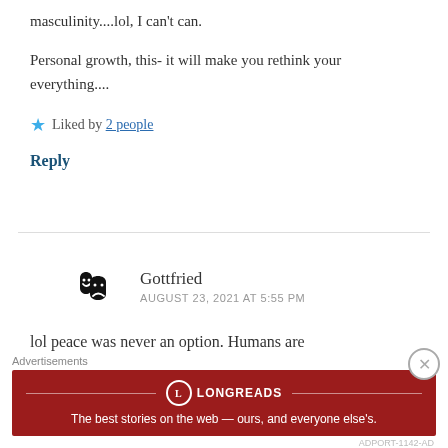masculinity....lol, I can't can.
Personal growth, this- it will make you rethink your everything....
★ Liked by 2 people
Reply
Gottfried
AUGUST 23, 2021 AT 5:55 PM
lol peace was never an option. Humans are
Advertisements
[Figure (other): Longreads advertisement banner: red background with Longreads logo and tagline 'The best stories on the web — ours, and everyone else's.']